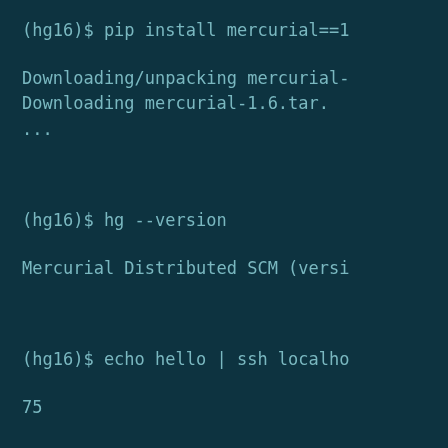(hg16)$ pip install mercurial==1
Downloading/unpacking mercurial-
Downloading mercurial-1.6.tar.
...
(hg16)$ hg --version
Mercurial Distributed SCM (versi
(hg16)$ echo hello | ssh localho
75